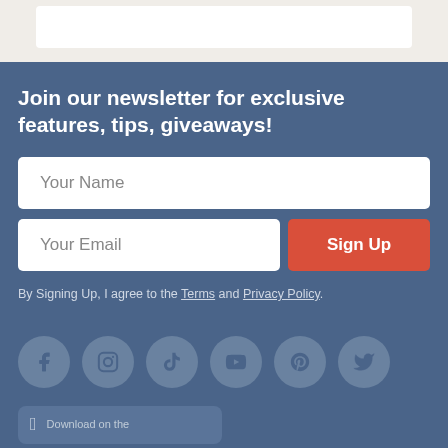[Figure (screenshot): Top beige/cream section with a white input box visible at top]
Join our newsletter for exclusive features, tips, giveaways!
[Figure (infographic): Newsletter signup form with Your Name field, Your Email field, and Sign Up button]
By Signing Up, I agree to the Terms and Privacy Policy.
[Figure (infographic): Social media icons: Facebook, Instagram, TikTok, YouTube, Pinterest, Twitter]
[Figure (infographic): Download on the App Store button partially visible at bottom]